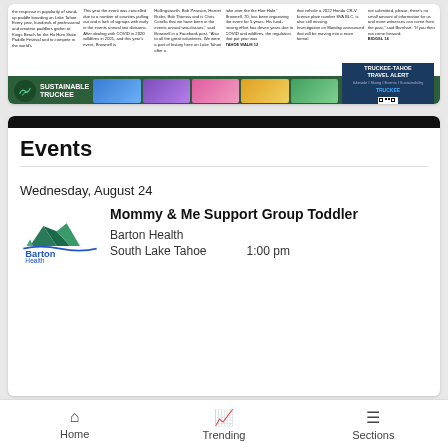[Figure (screenshot): Newspaper article clipping with multiple columns of small text about Lake Tahoe paddle festival event]
[Figure (other): Sustainable Truckee / Truckee-Tahoe Travel Alert advertisement banner with green background, mountain logo, photo thumbnails, and QR code]
Events
Wednesday, August 24
[Figure (logo): Barton Health logo with teal mountain graphic and blue Barton Health text]
Mommy & Me Support Group Toddler
Barton Health
South Lake Tahoe
1:00 pm
[Figure (other): Seamless food delivery advertisement with pizza image, red Seamless button, and ORDER NOW button]
Home   Trending   Sections